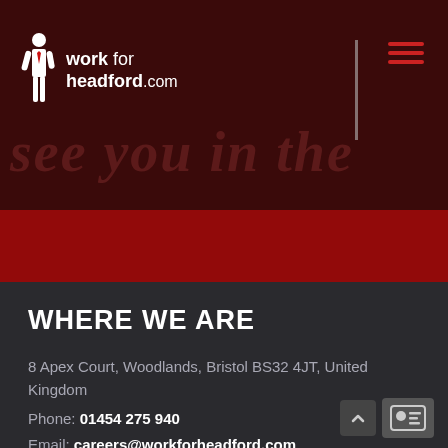[Figure (logo): work for headford.com logo with figure icon on dark red background with hamburger menu and 'see you in the' background text]
WHERE WE ARE
8 Apex Court, Woodlands, Bristol BS32 4JT, United Kingdom
Phone: 01454 275 940
Email: careers@workforheadford.com